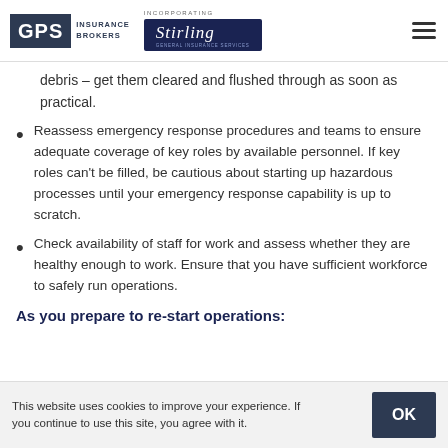GPS Insurance Brokers — Incorporating Stirling
debris – get them cleared and flushed through as soon as practical.
Reassess emergency response procedures and teams to ensure adequate coverage of key roles by available personnel. If key roles can't be filled, be cautious about starting up hazardous processes until your emergency response capability is up to scratch.
Check availability of staff for work and assess whether they are healthy enough to work. Ensure that you have sufficient workforce to safely run operations.
As you prepare to re-start operations:
This website uses cookies to improve your experience. If you continue to use this site, you agree with it.